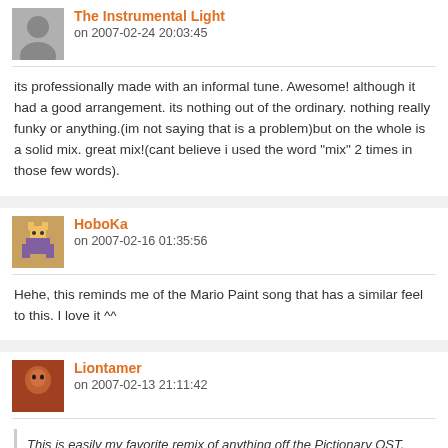The Instrumental Light
on 2007-02-24 20:03:45
its professionally made with an informal tune. Awesome! although it had a good arrangement. its nothing out of the ordinary. nothing really funky or anything.(im not saying that is a problem)but on the whole is a solid mix. great mix!(cant believe i used the word "mix" 2 times in those few words).
HoboKa
on 2007-02-16 01:35:56
Hehe, this reminds me of the Mario Paint song that has a similar feel to this. I love it ^^
Liontamer
on 2007-02-13 21:11:42
This is easily my favorite remix of anything off the Pictionary OST.